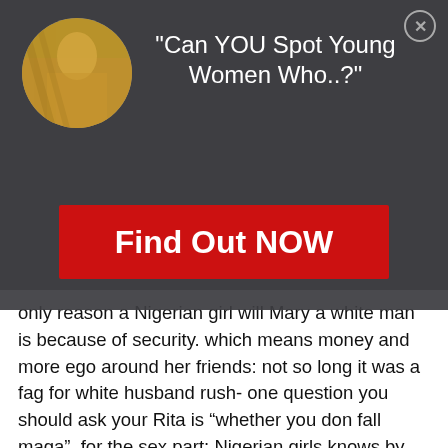[Figure (photo): Circular avatar photo of a woman in the top-left corner of a modal advertisement overlay]
"Can YOU Spot Young Women Who..?"
Find Out NOW
only reason a Nigerian girl will Mary a white man is because of security. which means money and more ego around her friends: not so long it was a fag for white husband rush- one question you should ask your Rita is “whether you don fall maga”. for the sex part: Nigerian girls knows by playing hard to get with magas, it increase their value. for the Village girls: Rita had been watching a lot of home videos, in reality it not like that, it the